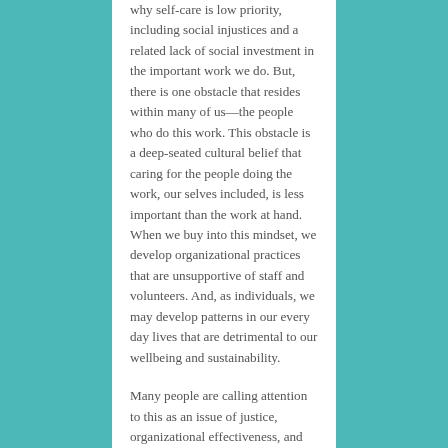why self-care is low priority, including social injustices and a related lack of social investment in the important work we do. But, there is one obstacle that resides within many of us—the people who do this work.  This obstacle is a deep-seated cultural belief that caring for the people doing the work, our selves included, is less important than the work at hand. When we buy into this mindset, we develop organizational practices that are unsupportive of staff and volunteers.  And, as individuals, we may develop patterns in our every day lives that are detrimental to our wellbeing and sustainability.
Many people are calling attention to this as an issue of justice, organizational effectiveness, and sustainability. Today, I'm adding my voice to the choir. As people and organizations working for social